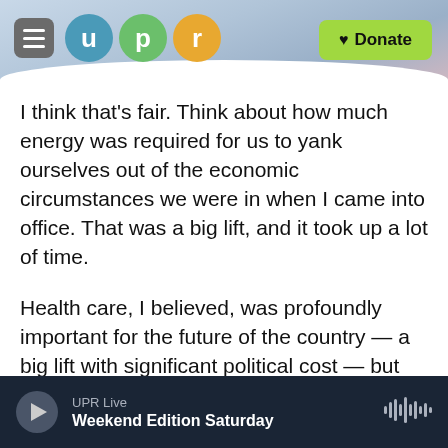[Figure (screenshot): UPR (Utah Public Radio) website header with hamburger menu, UPR logo circles (u, p, r in teal, green, orange), and a green Donate button]
I think that's fair. Think about how much energy was required for us to yank ourselves out of the economic circumstances we were in when I came into office. That was a big lift, and it took up a lot of time.
Health care, I believed, was profoundly important for the future of the country — a big lift with significant political cost — but we're now seeing that it's paid off. Not only have more than 10 million people benefited from the marketplace exchanges that we set up, not only have millions more gotten
UPR Live
Weekend Edition Saturday